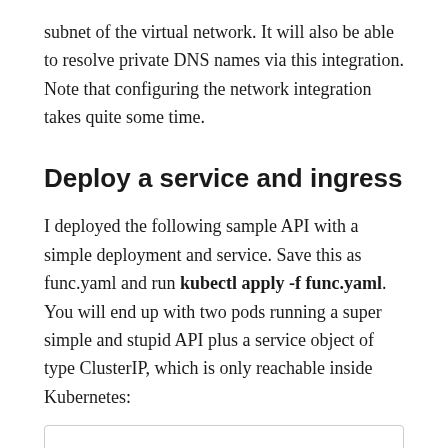subnet of the virtual network. It will also be able to resolve private DNS names via this integration. Note that configuring the network integration takes quite some time.
Deploy a service and ingress
I deployed the following sample API with a simple deployment and service. Save this as func.yaml and run kubectl apply -f func.yaml. You will end up with two pods running a super simple and stupid API plus a service object of type ClusterIP, which is only reachable inside Kubernetes:
[Figure (other): Empty code block box at bottom of page]